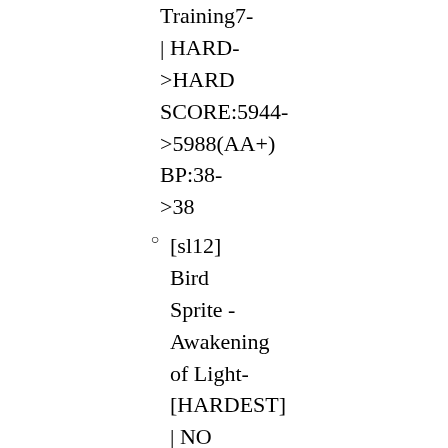Training7- | HARD->HARD SCORE:5944->5988(AA+) BP:38->38
[sl12] Bird Sprite - Awakening of Light-[HARDEST] | NO PLAY->HARD SCORE:0->4108(AAA) BP:0-